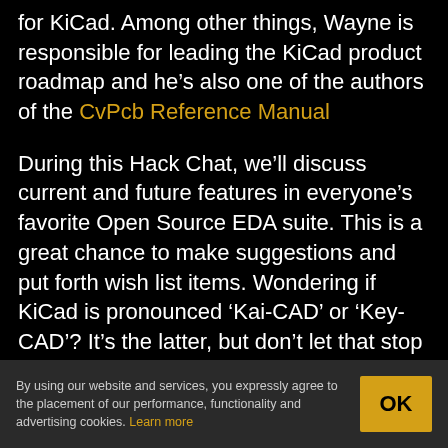for KiCad. Among other things, Wayne is responsible for leading the KiCad product roadmap and he’s also one of the authors of the CvPcb Reference Manual
During this Hack Chat, we’ll discuss current and future features in everyone’s favorite Open Source EDA suite. This is a great chance to make suggestions and put forth wish list items. Wondering if KiCad is pronounced ‘Kai-CAD’ or ‘Key-CAD’? It’s the latter, but don’t let that stop you from asking Wayne to change that.
By using our website and services, you expressly agree to the placement of our performance, functionality and advertising cookies. Learn more